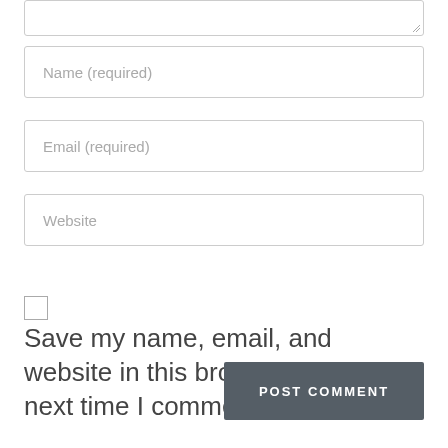[Figure (screenshot): Partial textarea input field at top of page, showing bottom portion with resize handle]
Name (required)
Email (required)
Website
[Figure (other): Checkbox (unchecked)]
Save my name, email, and website in this browser for the next time I comment.
POST COMMENT